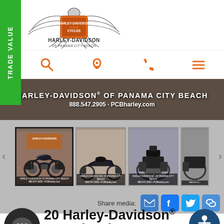[Figure (logo): Harley-Davidson of Panama City Beach logo with eagle]
[Figure (screenshot): Navigation icons row: search, location pin, phone, hamburger menu in orange]
[Figure (screenshot): Hero banner with text HARLEY-DAVIDSON OF PANAMA CITY BEACH, 888.547.2905 · PCBharley.com]
[Figure (photo): Gallery of 4 motorcycle thumbnail photos with previous/next arrows]
[Figure (screenshot): Share media row with email, facebook, twitter, and link buttons]
20 Harley-Davidson® Heritage Classic 114
PRICE: $00,005